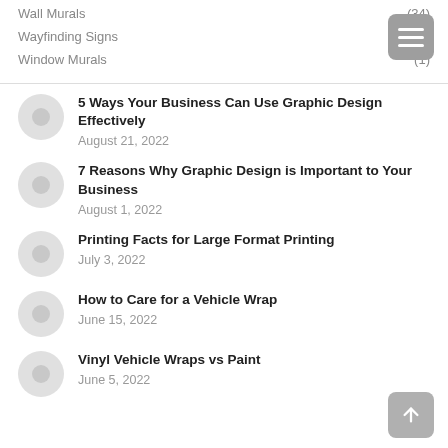Wall Murals (34)
Wayfinding Signs
Window Murals (1)
5 Ways Your Business Can Use Graphic Design Effectively
August 21, 2022
7 Reasons Why Graphic Design is Important to Your Business
August 1, 2022
Printing Facts for Large Format Printing
July 3, 2022
How to Care for a Vehicle Wrap
June 15, 2022
Vinyl Vehicle Wraps vs Paint
June 5, 2022